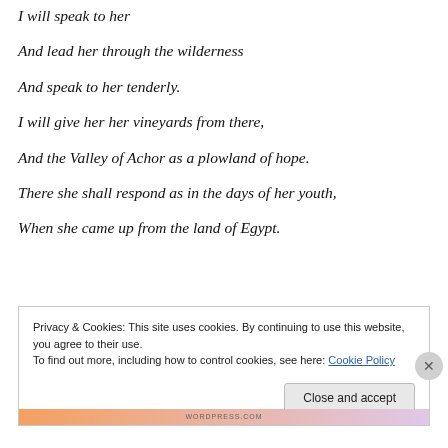I will speak to her
And lead her through the wilderness
And speak to her tenderly.
I will give her her vineyards from there,
And the Valley of Achor as a plowland of hope.
There she shall respond as in the days of her youth,
When she came up from the land of Egypt.
Privacy & Cookies: This site uses cookies. By continuing to use this website, you agree to their use.
To find out more, including how to control cookies, see here: Cookie Policy